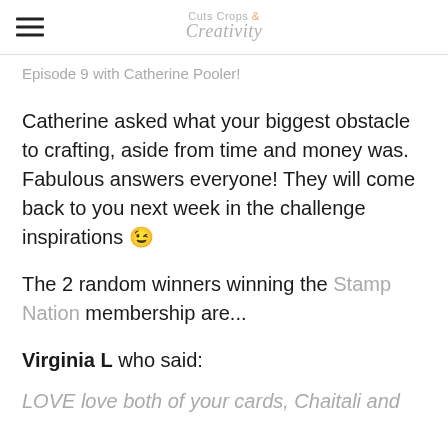Cuts Crops & Creativity
Episode 9 with Catherine Pooler!
Catherine asked what your biggest obstacle to crafting, aside from time and money was. Fabulous answers everyone! They will come back to you next week in the challenge inspirations 😉
The 2 random winners winning the Stamp Nation membership are...
Virginia L who said:
LOVE love both of your cards, Chaitali and